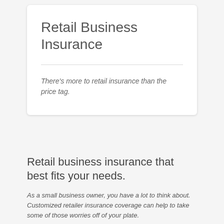Retail Business Insurance
There's more to retail insurance than the price tag.
Retail business insurance that best fits your needs.
As a small business owner, you have a lot to think about. Customized retailer insurance coverage can help to take some of those worries off of your plate.